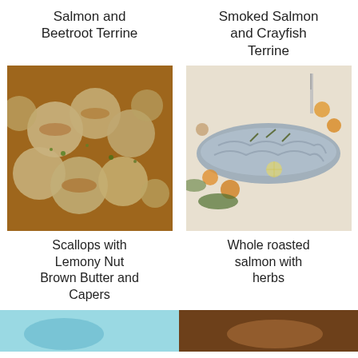Salmon and Beetroot Terrine
Smoked Salmon and Crayfish Terrine
[Figure (photo): Scallops in a pan with golden brown butter, herbs and capers]
[Figure (photo): Whole roasted salmon with herbs and vegetables on a platter]
Scallops with Lemony Nut Brown Butter and Capers
Whole roasted salmon with herbs
[Figure (photo): Partial image bottom left - light blue/teal toned food photo]
[Figure (photo): Partial image bottom right - dark warm toned food photo]